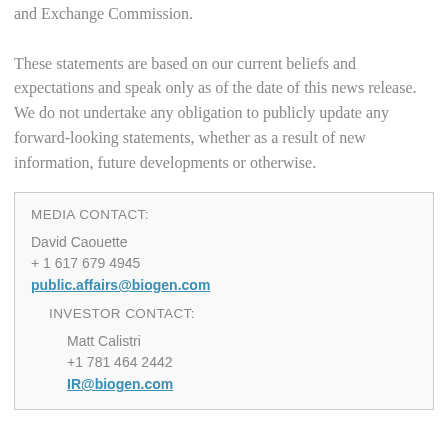and Exchange Commission. These statements are based on our current beliefs and expectations and speak only as of the date of this news release. We do not undertake any obligation to publicly update any forward-looking statements, whether as a result of new information, future developments or otherwise.
MEDIA CONTACT:

David Caouette
+ 1 617 679 4945
public.affairs@biogen.com

INVESTOR CONTACT:

Matt Calistri
+1 781 464 2442
IR@biogen.com